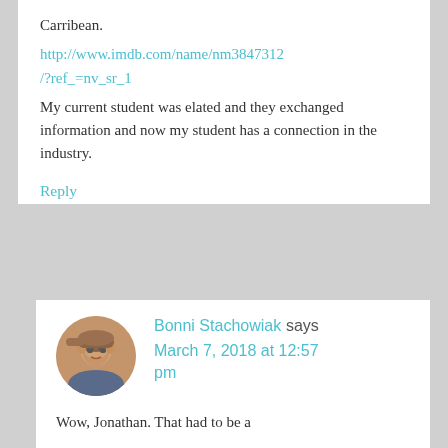Carribean.
http://www.imdb.com/name/nm3847312/?ref_=nv_sr_1
My current student was elated and they exchanged information and now my student has a connection in the industry.
Reply
Bonni Stachowiak says March 7, 2018 at 12:57 pm
Wow, Jonathan. That had to be a